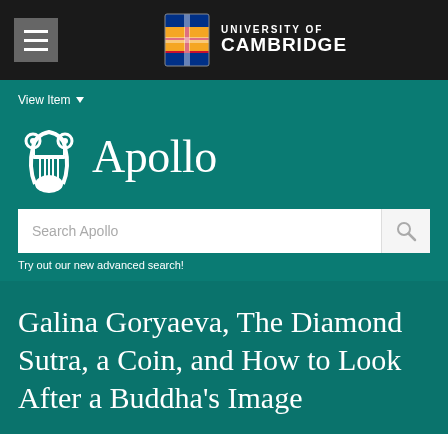UNIVERSITY OF CAMBRIDGE
View Item
[Figure (logo): Apollo repository logo with lyre icon and 'Apollo' text]
Search Apollo
Try out our new advanced search!
Galina Goryaeva, The Diamond Sutra, a Coin, and How to Look After a Buddha's Image